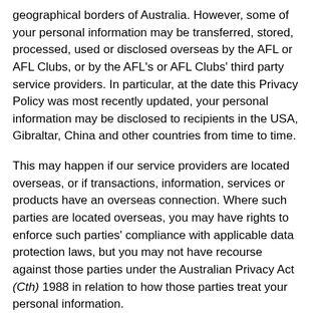geographical borders of Australia. However, some of your personal information may be transferred, stored, processed, used or disclosed overseas by the AFL or AFL Clubs, or by the AFL's or AFL Clubs' third party service providers. In particular, at the date this Privacy Policy was most recently updated, your personal information may be disclosed to recipients in the USA, Gibraltar, China and other countries from time to time.
This may happen if our service providers are located overseas, or if transactions, information, services or products have an overseas connection. Where such parties are located overseas, you may have rights to enforce such parties' compliance with applicable data protection laws, but you may not have recourse against those parties under the Australian Privacy Act (Cth) 1988 in relation to how those parties treat your personal information.
You agree to the disclosure and use of such personal information in accordance with this Privacy Policy, and consent to its disclosure overseas and its use by third parties, including our service providers, in the USA, Gibraltar, China and such other